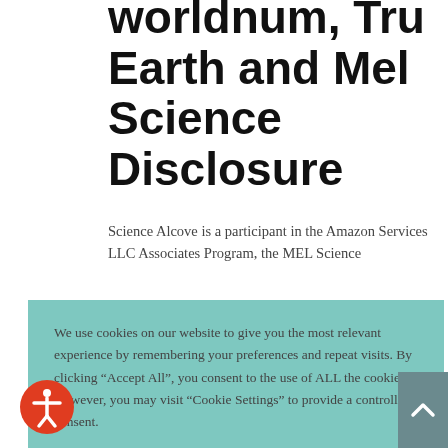worldnum, Tru Earth and Mel Science Disclosure
Science Alcove is a participant in the Amazon Services LLC Associates Program, the MEL Science
We use cookies on our website to give you the most relevant experience by remembering your preferences and repeat visits. By clicking "Accept All", you consent to the use of ALL the cookies. However, you may visit "Cookie Settings" to provide a controlled consent.
the Earth. Try Tru Earth products. They are super environmentally friendly and are a great way to begin your Eco-